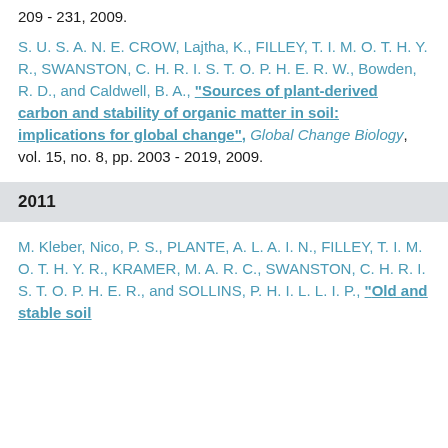209 - 231, 2009.
S. U. S. A. N. E. CROW, Lajtha, K., FILLEY, T. I. M. O. T. H. Y. R., SWANSTON, C. H. R. I. S. T. O. P. H. E. R. W., Bowden, R. D., and Caldwell, B. A., "Sources of plant-derived carbon and stability of organic matter in soil: implications for global change", Global Change Biology, vol. 15, no. 8, pp. 2003 - 2019, 2009.
2011
M. Kleber, Nico, P. S., PLANTE, A. L. A. I. N., FILLEY, T. I. M. O. T. H. Y. R., KRAMER, M. A. R. C., SWANSTON, C. H. R. I. S. T. O. P. H. E. R., and SOLLINS, P. H. I. L. L. I. P., "Old and stable soil organic matter is not necessarily chemically recalcitrant..."